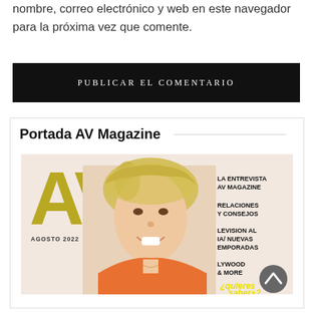nombre, correo electrónico y web en este navegador para la próxima vez que comente.
[Figure (other): Black button with text PUBLICAR EL COMENTARIO in white uppercase spaced letters]
Portada AV Magazine
[Figure (photo): AV Magazine cover for Agosto 2022 featuring a smiling blonde woman in an orange top. The cover includes the gold AV logo, sidebar headlines: LA ENTREVISTA AV MAGAZINE, RELACIONES Y CONSEJOS, TELEVISION AL DIA / NUEVAS TEMPORADAS, LYWOOD & MORE, and a yellow stylized text ¿quieres saber+? at the bottom. A grey back-to-top button is visible in the lower right.]